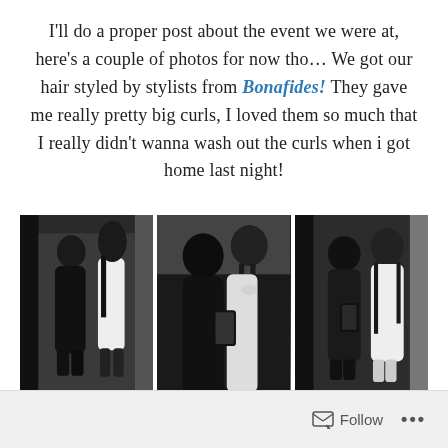I'll do a proper post about the event we were at, here's a couple of photos for now tho… We got our hair styled by stylists from Bonafides! They gave me really pretty big curls, I loved them so much that I really didn't wanna wash out the curls when i got home last night!
[Figure (photo): Three side-by-side photos of two young women taking mirror selfies, all dressed in black and white outfits]
♡HAIR STYLED BY BONAFIDES.
Follow ...